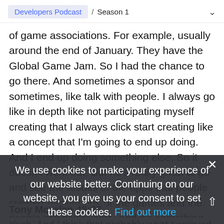Developers Podcast / Season 1
of game associations. For example, usually around the end of January. They have the Global Game Jam. So I had the chance to go there. And sometimes a sponsor and sometimes, like talk with people. I always go like in depth like not participating myself creating that I always click start creating like a concept that I'm going to end up doing. And I end up doing something else. So it doesn't work out. But he's really great to go and see the results of the apps that people created hackathons of the games and the people are game jams. And it's something that brings a lot of energy from yo
We use cookies to make your experience of our website better. Continuing on our website, you give us your consent to set these cookies. Find out more
Tony Morelan 48:28
Yeah. And I think that probably what I enjoyed the most around that is...